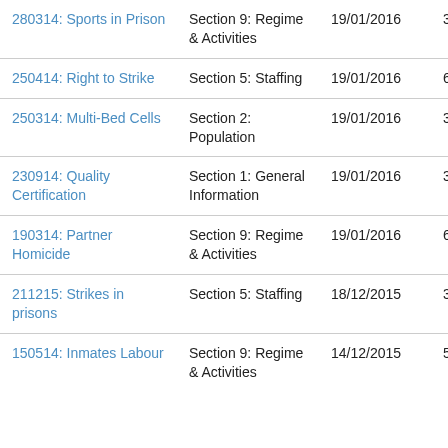| 280314: Sports in Prison | Section 9: Regime & Activities | 19/01/2016 | 3 |
| 250414: Right to Strike | Section 5: Staffing | 19/01/2016 | 6 |
| 250314: Multi-Bed Cells | Section 2: Population | 19/01/2016 | 3 |
| 230914: Quality Certification | Section 1: General Information | 19/01/2016 | 3 |
| 190314: Partner Homicide | Section 9: Regime & Activities | 19/01/2016 | 6 |
| 211215: Strikes in prisons | Section 5: Staffing | 18/12/2015 | 3 |
| 150514: Inmates Labour | Section 9: Regime & Activities | 14/12/2015 | 5 |